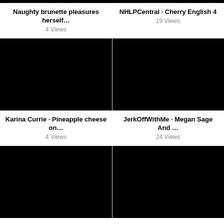[Figure (screenshot): Black video thumbnail top left]
[Figure (screenshot): Black video thumbnail top right]
Naughty brunette pleasures herself…
4 Views
NHLPCentral · Cherry English 4
19 Views
[Figure (screenshot): Black video thumbnail middle left]
[Figure (screenshot): Black video thumbnail middle right]
Karina Currie · Pineapple cheese on…
4 Views
JerkOffWithMe · Megan Sage And …
24 Views
[Figure (screenshot): Black video thumbnail lower left]
[Figure (screenshot): Black video thumbnail lower right]
Blonde chick facesitting her pretty …
14 Views
Chaturbate · uv May-19-2019 22-56-…
21 Views
[Figure (screenshot): Black video thumbnail bottom left]
[Figure (screenshot): Black video thumbnail bottom right]